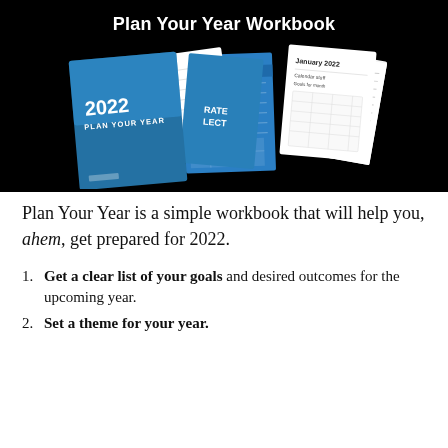Plan Your Year Workbook
[Figure (illustration): Collage of workbook covers and pages on black background. A blue workbook cover shows '2022 PLAN YOUR YEAR', surrounded by fanned-out worksheet pages and additional blue folder covers with partial text 'RATE' and 'LECT'. A white January 2022 calendar page and other planning document pages are visible.]
Plan Your Year is a simple workbook that will help you, ahem, get prepared for 2022.
Get a clear list of your goals and desired outcomes for the upcoming year.
Set a theme for your year.